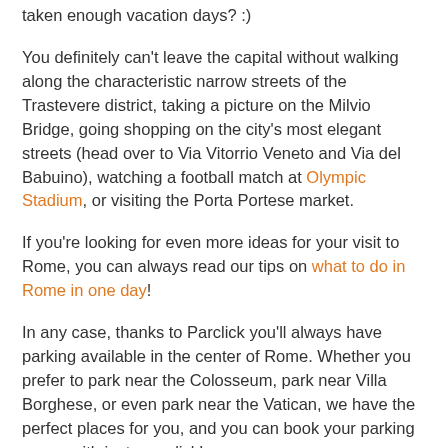taken enough vacation days? :)
You definitely can't leave the capital without walking along the characteristic narrow streets of the Trastevere district, taking a picture on the Milvio Bridge, going shopping on the city's most elegant streets (head over to Via Vitorrio Veneto and Via del Babuino), watching a football match at Olympic Stadium, or visiting the Porta Portese market.
If you're looking for even more ideas for your visit to Rome, you can always read our tips on what to do in Rome in one day!
In any case, thanks to Parclick you'll always have parking available in the center of Rome. Whether you prefer to park near the Colosseum, park near Villa Borghese, or even park near the Vatican, we have the perfect places for you, and you can book your parking space with just one click!